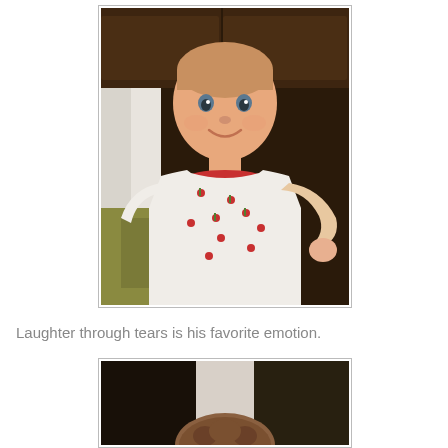[Figure (photo): A smiling baby wearing a white onesie with red and green cherry/candy cane pattern, sitting up, looking at camera. Dark wood cabinets visible in background. The baby appears to be a few months old with light hair and rosy cheeks.]
Laughter through tears is his favorite emotion.
[Figure (photo): Partial view of a baby or toddler from above, showing the top of a head with brown hair. The child appears to be in a closet or doorway with dark background visible.]